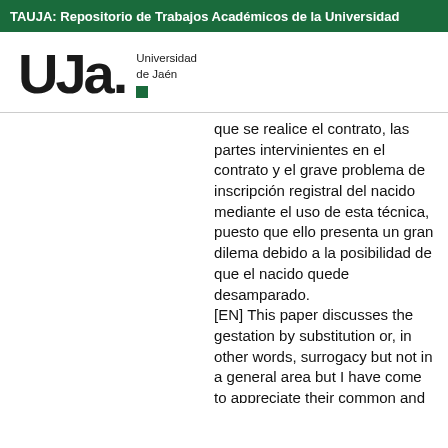TAUJA: Repositorio de Trabajos Académicos de la Universidad
[Figure (logo): UJa Universidad de Jaén logo with green square]
que se realice el contrato, las partes intervinientes en el contrato y el grave problema de inscripción registral del nacido mediante el uso de esta técnica, puesto que ello presenta un gran dilema debido a la posibilidad de que el nacido quede desamparado. [EN] This paper discusses the gestation by substitution or, in other words, surrogacy but not in a general area but I have come to appreciate their common and differentiating